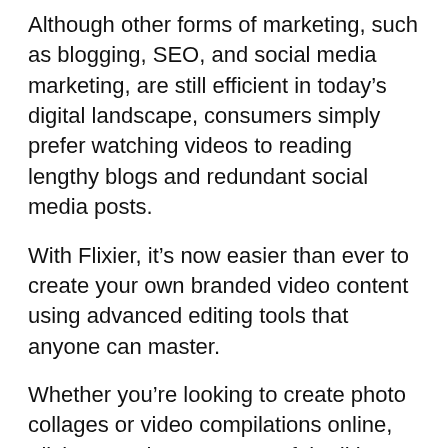Although other forms of marketing, such as blogging, SEO, and social media marketing, are still efficient in today’s digital landscape, consumers simply prefer watching videos to reading lengthy blogs and redundant social media posts.
With Flixier, it’s now easier than ever to create your own branded video content using advanced editing tools that anyone can master.
Whether you’re looking to create photo collages or video compilations online, Flixier puts the most powerful editing software right in the palm of your hand.
Let’s take a look at a few Flixier features that make it the absolute best free video